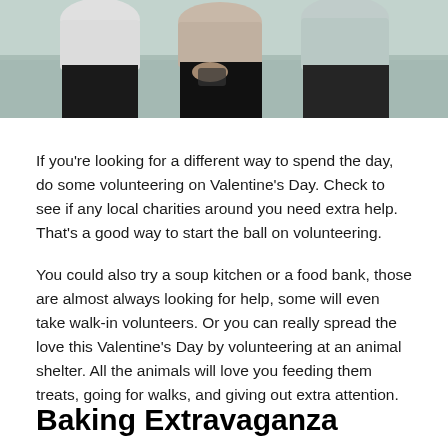[Figure (photo): Photo of people (volunteers) appearing to look at a device together, shown from mid-torso down, outdoors background]
If you're looking for a different way to spend the day, do some volunteering on Valentine's Day. Check to see if any local charities around you need extra help. That's a good way to start the ball on volunteering.
You could also try a soup kitchen or a food bank, those are almost always looking for help, some will even take walk-in volunteers. Or you can really spread the love this Valentine's Day by volunteering at an animal shelter. All the animals will love you feeding them treats, going for walks, and giving out extra attention.
Baking Extravaganza